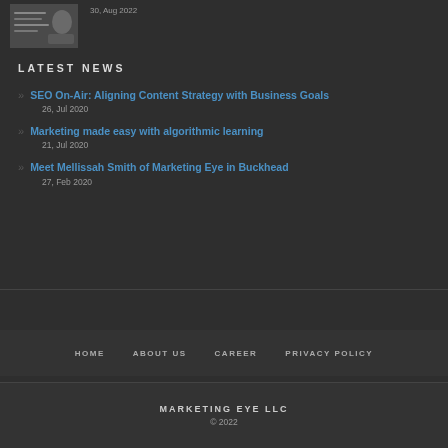[Figure (photo): Partial view of a business meeting photo, cropped at top]
30, Aug 2022
LATEST NEWS
SEO On-Air: Aligning Content Strategy with Business Goals
26, Jul 2020
Marketing made easy with algorithmic learning
21, Jul 2020
Meet Mellissah Smith of Marketing Eye in Buckhead
27, Feb 2020
HOME   ABOUT US   CAREER   PRIVACY POLICY
MARKETING EYE LLC
© 2022